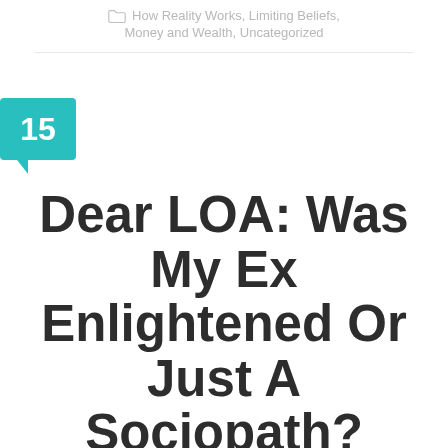How Reality Works, Limiting Beliefs, Money and Wealth, Uncategorized
[Figure (other): Teal speech/comment bubble with the number 15 inside]
Dear LOA: Was My Ex Enlightened Or Just A Sociopath?